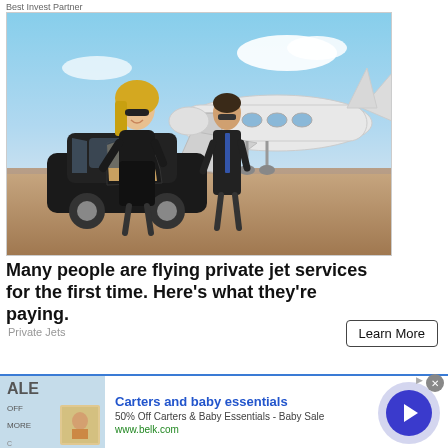Best Invest Partner
[Figure (photo): Two well-dressed people (a woman in black outfit with sunglasses and a man in a suit) standing next to a luxury car with door open, with a private jet on an airfield in the background.]
Many people are flying private jet services for the first time. Here's what they're paying.
Private Jets
Learn More
[Figure (photo): Advertisement banner for Carters and baby essentials with text: 50% Off Carters & Baby Essentials - Baby Sale, www.belk.com]
Carters and baby essentials
50% Off Carters & Baby Essentials - Baby Sale
www.belk.com